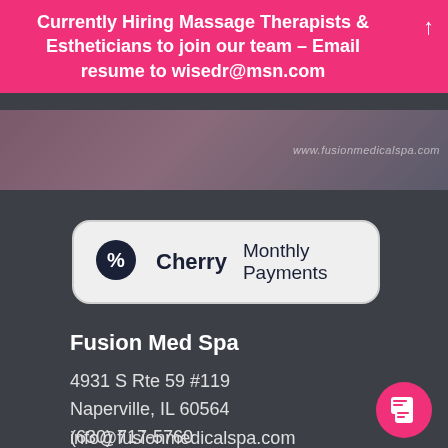Currently Hiring Massage Therapists & Estheticians to join our team – Email resume to wisedr@msn.com
[Figure (photo): Partial photo of spa products/items with website URL overlay text www.fusionmedicalspa.com]
[Figure (logo): Cherry Monthly Payments logo badge in a rounded rectangle]
Fusion Med Spa
4931 S Rte 59 #119
Naperville, IL 60564
(630) 717-5760
info@fusionmedicalspa.com